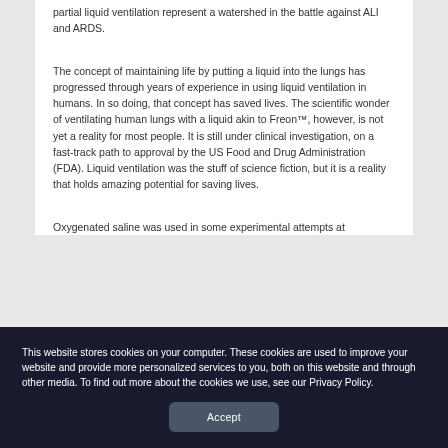partial liquid ventilation represent a watershed in the battle against ALI and ARDS.
The concept of maintaining life by putting a liquid into the lungs has progressed through years of experience in using liquid ventilation in humans. In so doing, that concept has saved lives. The scientific wonder of ventilating human lungs with a liquid akin to Freon™, however, is not yet a reality for most people. It is still under clinical investigation, on a fast-track path to approval by the US Food and Drug Administration (FDA). Liquid ventilation was the stuff of science fiction, but it is a reality that holds amazing potential for saving lives.
Oxygenated saline was used in some experimental attempts at
This website stores cookies on your computer. These cookies are used to improve your website and provide more personalized services to you, both on this website and through other media. To find out more about the cookies we use, see our Privacy Policy.